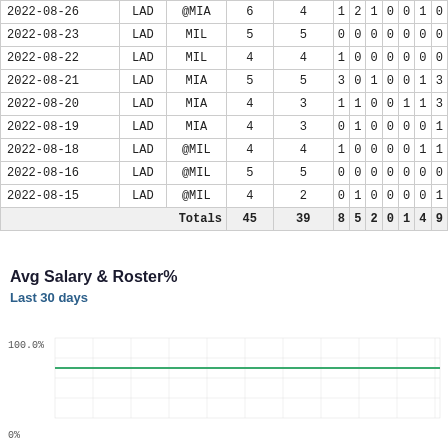| Date | Team | Opp | AB | R | H | RBI | BB | K | SB | CS | HR |
| --- | --- | --- | --- | --- | --- | --- | --- | --- | --- | --- | --- |
| 2022-08-26 | LAD | @MIA | 6 | 4 | 1 | 2 | 1 | 0 | 0 | 1 | 0 |
| 2022-08-23 | LAD | MIL | 5 | 5 | 0 | 0 | 0 | 0 | 0 | 0 | 0 |
| 2022-08-22 | LAD | MIL | 4 | 4 | 1 | 0 | 0 | 0 | 0 | 0 | 0 |
| 2022-08-21 | LAD | MIA | 5 | 5 | 3 | 0 | 1 | 0 | 0 | 1 | 3 |
| 2022-08-20 | LAD | MIA | 4 | 3 | 1 | 1 | 0 | 0 | 1 | 1 | 3 |
| 2022-08-19 | LAD | MIA | 4 | 3 | 0 | 1 | 0 | 0 | 0 | 0 | 1 |
| 2022-08-18 | LAD | @MIL | 4 | 4 | 1 | 0 | 0 | 0 | 0 | 1 | 1 |
| 2022-08-16 | LAD | @MIL | 5 | 5 | 0 | 0 | 0 | 0 | 0 | 0 | 0 |
| 2022-08-15 | LAD | @MIL | 4 | 2 | 0 | 1 | 0 | 0 | 0 | 0 | 1 |
| Totals |  |  | 45 | 39 | 8 | 5 | 2 | 0 | 1 | 4 | 9 |
Avg Salary & Roster%
Last 30 days
[Figure (line-chart): Line chart showing roster percentage over last 30 days, with a nearly flat green line around 100%]